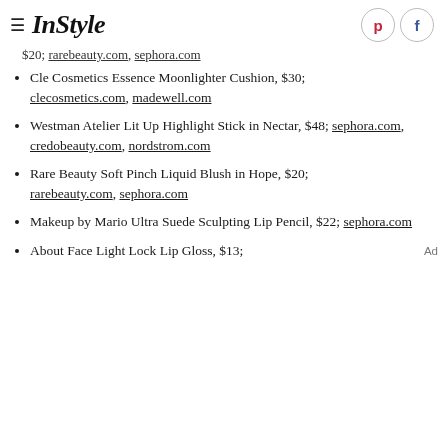InStyle
$20; rarebeauty.com, sephora.com
Cle Cosmetics Essence Moonlighter Cushion, $30; clecosmetics.com, madewell.com
Westman Atelier Lit Up Highlight Stick in Nectar, $48; sephora.com, credobeauty.com, nordstrom.com
Rare Beauty Soft Pinch Liquid Blush in Hope, $20; rarebeauty.com, sephora.com
Makeup by Mario Ultra Suede Sculpting Lip Pencil, $22; sephora.com
About Face Light Lock Lip Gloss, $13;